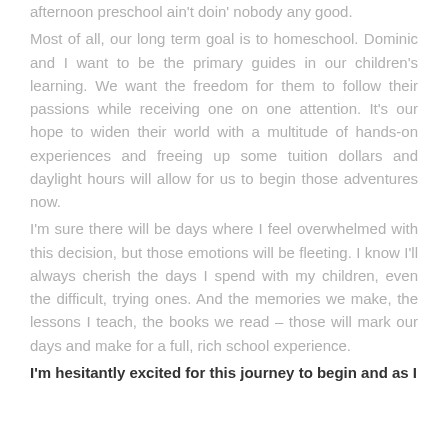afternoon preschool ain't doin' nobody any good.
Most of all, our long term goal is to homeschool. Dominic and I want to be the primary guides in our children's learning. We want the freedom for them to follow their passions while receiving one on one attention. It's our hope to widen their world with a multitude of hands-on experiences and freeing up some tuition dollars and daylight hours will allow for us to begin those adventures now.
I'm sure there will be days where I feel overwhelmed with this decision, but those emotions will be fleeting. I know I'll always cherish the days I spend with my children, even the difficult, trying ones. And the memories we make, the lessons I teach, the books we read – those will mark our days and make for a full, rich school experience.
I'm hesitantly excited for this journey to begin and as I